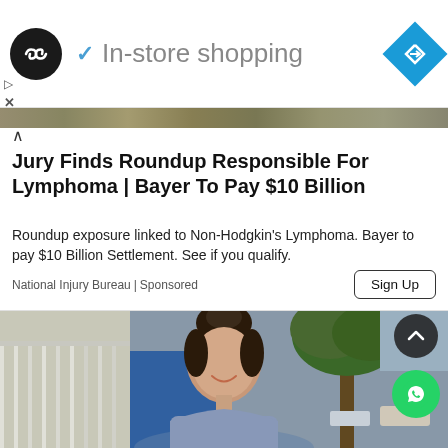[Figure (screenshot): Top ad bar with black circular logo, checkmark and 'In-store shopping' text in gray, blue diamond navigation icon on right]
Jury Finds Roundup Responsible For Lymphoma | Bayer To Pay $10 Billion
Roundup exposure linked to Non-Hodgkin's Lymphoma. Bayer to pay $10 Billion Settlement. See if you qualify.
National Injury Bureau | Sponsored
[Figure (photo): Young woman with dark hair in updo, smiling, wearing gray top, standing outdoors near tree and fence. Scroll-up and WhatsApp floating buttons visible.]